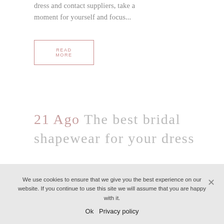dress and contact suppliers, take a moment for yourself and focus...
READ MORE
21 Ago The best bridal shapewear for your dress
We use cookies to ensure that we give you the best experience on our website. If you continue to use this site we will assume that you are happy with it.
Ok   Privacy policy